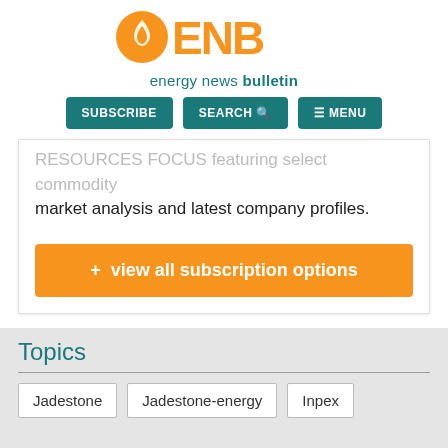[Figure (logo): ENB Energy News Bulletin logo with orange flame icon and teal text]
SUBSCRIBE | SEARCH | MENU
RESOURCES FOCUS featuring select commodity market analysis and latest company profiles.
+ view all subscription options
Topics
Jadestone
Jadestone-energy
Inpex